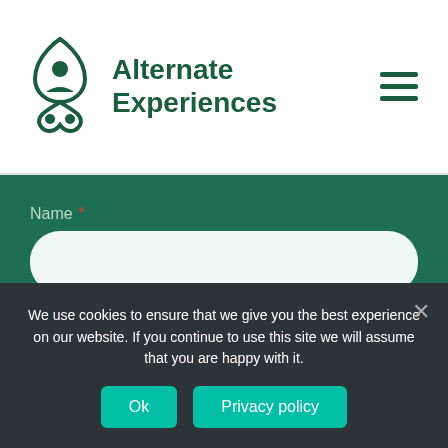Alternate Experiences
Name *
Organisation *
We use cookies to ensure that we give you the best experience on our website. If you continue to use this site we will assume that you are happy with it.